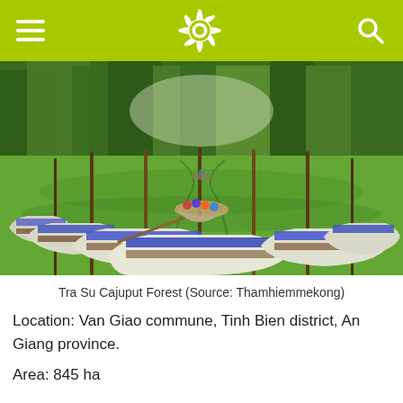Tra Su Cajuput Forest
[Figure (photo): Aerial/wide view of Tra Su Cajuput Forest with wooden rowing boats with blue seats lined up on green duckweed-covered water, surrounded by tall trees, with tourists rowing a boat in the background.]
Tra Su Cajuput Forest (Source: Thamhiemmekong)
Location: Van Giao commune, Tinh Bien district, An Giang province.
Area: 845 ha